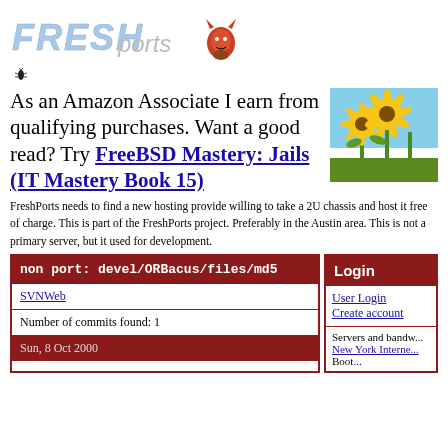[Figure (logo): FreshPorts logo with stylized text and BSD devil mascot]
[Figure (illustration): Small bug/insect icon]
As an Amazon Associate I earn from qualifying purchases. Want a good read? Try FreeBSD Mastery: Jails (IT Mastery Book 15)
[Figure (photo): Sunflower field photo]
FreshPorts needs to find a new hosting provide willing to take a 2U chassis and host it free of charge. This is part of the FreshPorts project. Preferably in the Austin area. This is not a primary server, but it used for development.
non port: devel/ORBacus/files/md5
SVNWeb
Number of commits found: 1
Sun, 8 Oct 2000
Login
User Login
Create account
Servers and bandw...
New York Interne...
Boot...